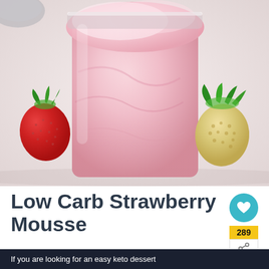[Figure (photo): A glass jar filled with pink strawberry mousse, garnished with a red strawberry on the left and an unripe/white strawberry with green leaves on the right, on a light background.]
Low Carb Strawberry Mousse
289
If you are looking for an easy keto dessert